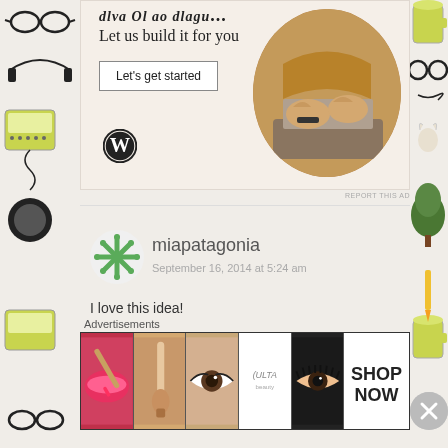[Figure (screenshot): WordPress advertisement banner with text 'Let us build it for you', a 'Let's get started' button, WordPress logo, and a circular photo of hands on a laptop]
REPORT THIS AD
miapatagonia
September 16, 2014 at 5:24 am
I love this idea!
I like deRAnged and enTRAnced but I think we
Advertisements
[Figure (screenshot): ULTA beauty advertisement banner with makeup imagery and 'SHOP NOW' text]